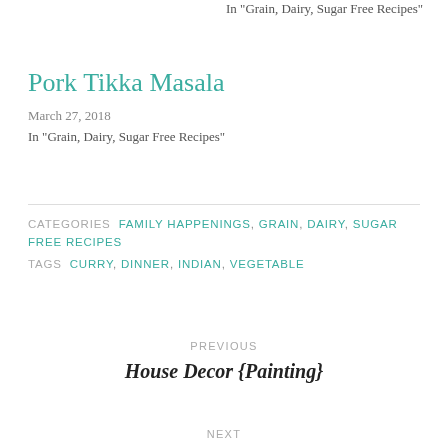In "Grain, Dairy, Sugar Free Recipes"
Pork Tikka Masala
March 27, 2018
In "Grain, Dairy, Sugar Free Recipes"
CATEGORIES: FAMILY HAPPENINGS, GRAIN, DAIRY, SUGAR FREE RECIPES
TAGS: CURRY, DINNER, INDIAN, VEGETABLE
PREVIOUS
House Decor {Painting}
NEXT